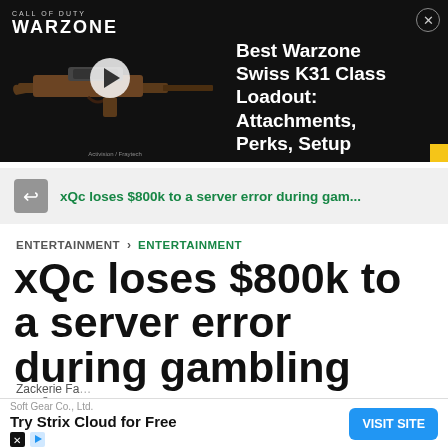[Figure (screenshot): Call of Duty Warzone advertisement banner showing a rifle with play button and text 'Best Warzone Swiss K31 Class Loadout: Attachments, Perks, Setup']
xQc loses $800k to a server error during gam...
ENTERTAINMENT > ENTERTAINMENT
xQc loses $800k to a server error during gambling stream
Soft Gear Co., Ltd. Try Strix Cloud for Free VISIT SITE